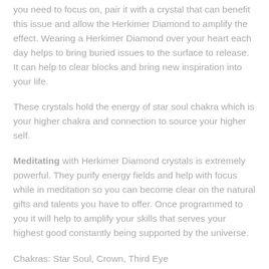you need to focus on, pair it with a crystal that can benefit this issue and allow the Herkimer Diamond to amplify the effect. Wearing a Herkimer Diamond over your heart each day helps to bring buried issues to the surface to release. It can help to clear blocks and bring new inspiration into your life.
These crystals hold the energy of star soul chakra which is your higher chakra and connection to source your higher self.
Meditating with Herkimer Diamond crystals is extremely powerful. They purify energy fields and help with focus while in meditation so you can become clear on the natural gifts and talents you have to offer. Once programmed to you it will help to amplify your skills that serves your highest good constantly being supported by the universe.
Chakras: Star Soul, Crown, Third Eye
Charge: Full Moon